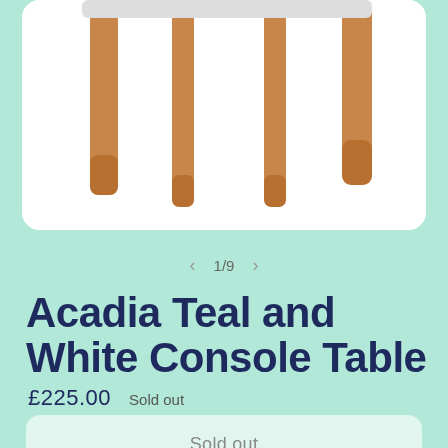[Figure (photo): Partial view of a console table with wooden legs (teal and white Acadia Console Table), showing the underside/legs area on a white background]
1/9
Acadia Teal and White Console Table
£225.00   Sold out
Sold out
This stunning piece has been constructed from 100%